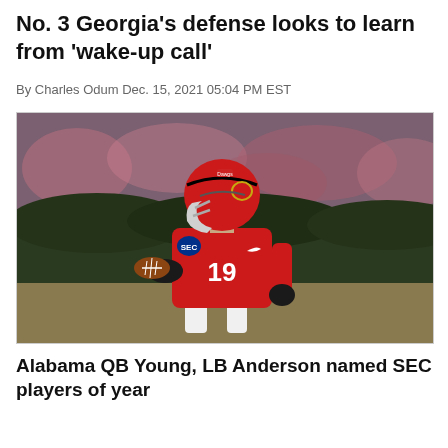No. 3 Georgia's defense looks to learn from 'wake-up call'
By Charles Odum Dec. 15, 2021 05:04 PM EST
[Figure (photo): Georgia Bulldogs football player #19 in red uniform with SEC patch carrying a football, running on field with blurred crowd background]
Alabama QB Young, LB Anderson named SEC players of year